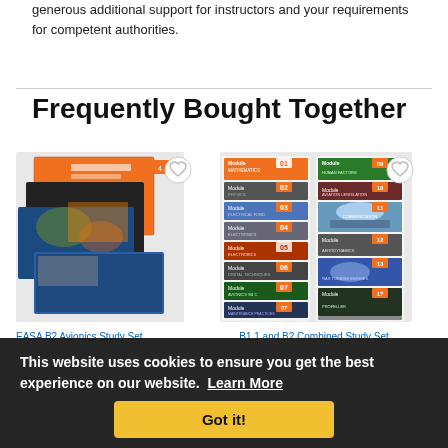generous additional support for instructors and your requirements for competent authorities.
Frequently Bought Together
[Figure (photo): Stack of EASA B2 Avionics study books with orange and black covers]
EASA B2 Avionics Study Set
[Figure (photo): Grid of multiple EASA module books with numbered spines — B1.1 and B2 Combined Study Set]
B1.1 and B2 Combined Study Set
This website uses cookies to ensure you get the best experience on our website. Learn More
Got it!